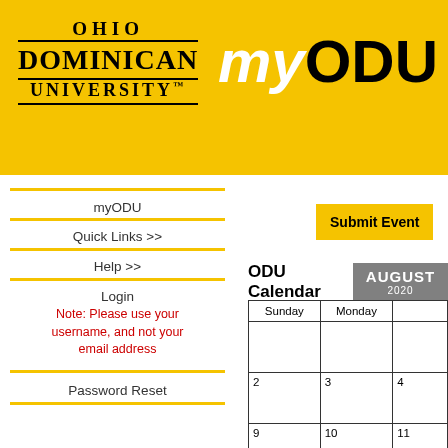Ohio Dominican University - myODU
myODU
Quick Links >>
Help >>
Login
Note: Please use your username, and not your email address
Password Reset
Submit Event
ODU Calendar  AUGUST 2020
| Sunday | Monday |  |
| --- | --- | --- |
|  |  |  |
| 2 | 3 | 4 |
| 9 | 10 | 11 |
| 16 | 17 | 18 |